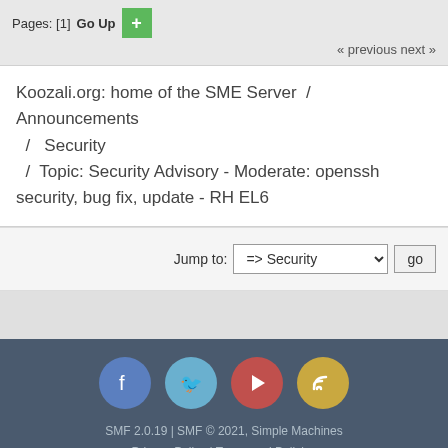Pages: [1]  Go Up  +
« previous next »
Koozali.org: home of the SME Server  /  Announcements  /  Security  /  Topic: Security Advisory - Moderate: openssh security, bug fix, update - RH EL6
Jump to: => Security  go
SMF 2.0.19 | SMF © 2021, Simple Machines
Privacy Policy | Terms and Policies
Koozali.org: home of the SME Server ©
Page created in 0.211 seconds with 19 queries.